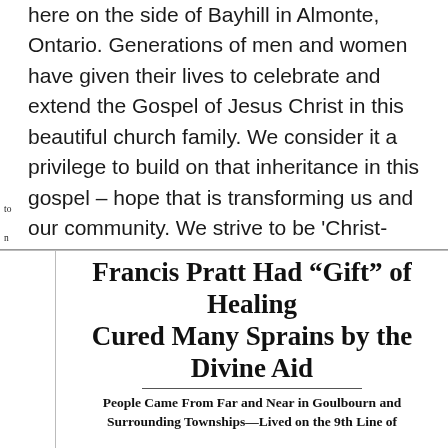here on the side of Bayhill in Almonte, Ontario. Generations of men and women have given their lives to celebrate and extend the Gospel of Jesus Christ in this beautiful church family. We consider it a privilege to build on that inheritance in this gospel – hope that is transforming us and our community. We strive to be 'Christ-Centered and People-Focused' in our calling here in Lanark County. We hope this website brings you a clearer sense of who we are, but to be honest, it would be best to discover us in person. We're so glad you found us and welcome the chance to meet. CLICK
[Figure (other): Newspaper clipping with headline 'Francis Pratt Had "Gift" of Healing Cured Many Sprains by the Divine Aid' and subheading 'People Came From Far and Near in Goulbourn and Surrounding Townships—Lived on the 9th Line of']